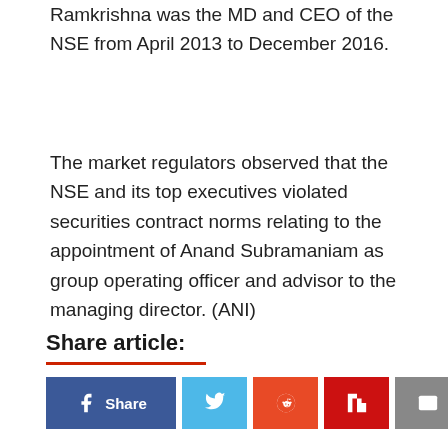Ramkrishna was the MD and CEO of the NSE from April 2013 to December 2016.
The market regulators observed that the NSE and its top executives violated securities contract norms relating to the appointment of Anand Subramaniam as group operating officer and advisor to the managing director. (ANI)
Share article:
[Figure (other): Social share buttons: Facebook Share, Twitter, Reddit, Flipboard, Email]